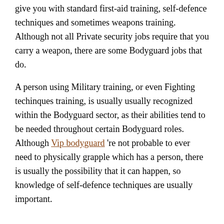give you with standard first-aid training, self-defence techniques and sometimes weapons training. Although not all Private security jobs require that you carry a weapon, there are some Bodyguard jobs that do.
A person using Military training, or even Fighting techinques training, is usually usually recognized within the Bodyguard sector, as their abilities tend to be needed throughout certain Bodyguard roles. Although Vip bodyguard 're not probable to ever need to physically grapple which has a person, there is usually the possibility that it can happen, so knowledge of self-defence techniques are usually important.